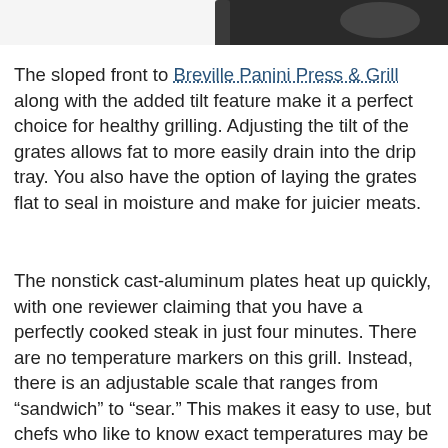[Figure (photo): Partial top view of a dark/black Breville Panini Press & Grill appliance, cropped at the top of the page showing the upper portion of the device.]
The sloped front to Breville Panini Press & Grill along with the added tilt feature make it a perfect choice for healthy grilling. Adjusting the tilt of the grates allows fat to more easily drain into the drip tray. You also have the option of laying the grates flat to seal in moisture and make for juicier meats.
The nonstick cast-aluminum plates heat up quickly, with one reviewer claiming that you have a perfectly cooked steak in just four minutes. There are no temperature markers on this grill. Instead, there is an adjustable scale that ranges from "sandwich" to "sear." This makes it easy to use, but chefs who like to know exact temperatures may be frustrated.